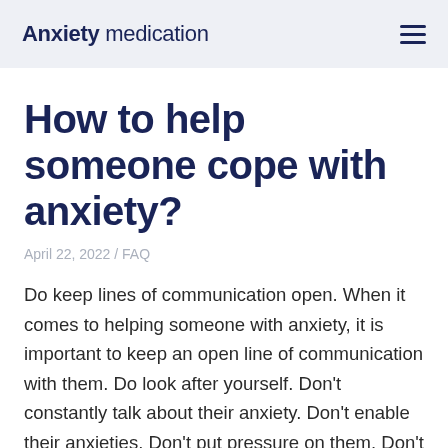Anxiety medication
How to help someone cope with anxiety?
April 22, 2022 / FAQ
Do keep lines of communication open. When it comes to helping someone with anxiety, it is important to keep an open line of communication with them. Do look after yourself. Don't constantly talk about their anxiety. Don't enable their anxieties. Don't put pressure on them. Don't get frustrated. Don't expect immediate change.